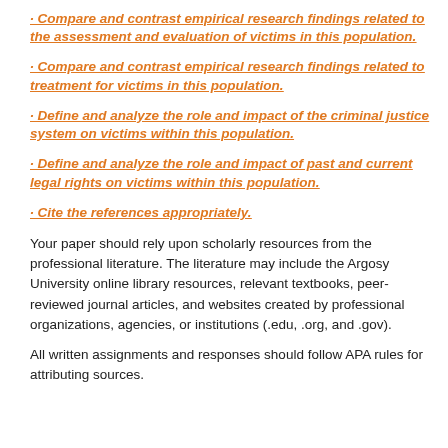· Compare and contrast empirical research findings related to the assessment and evaluation of victims in this population.
· Compare and contrast empirical research findings related to treatment for victims in this population.
· Define and analyze the role and impact of the criminal justice system on victims within this population.
· Define and analyze the role and impact of past and current legal rights on victims within this population.
· Cite the references appropriately.
Your paper should rely upon scholarly resources from the professional literature. The literature may include the Argosy University online library resources, relevant textbooks, peer-reviewed journal articles, and websites created by professional organizations, agencies, or institutions (.edu, .org, and .gov).
All written assignments and responses should follow APA rules for attributing sources.